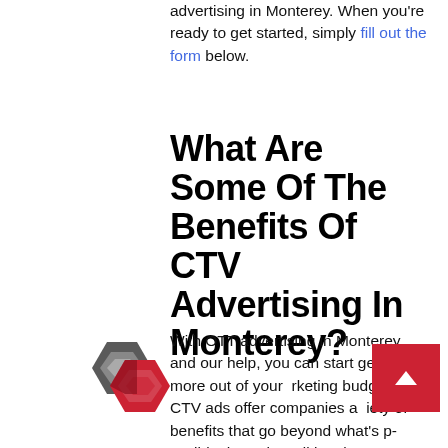advertising in Monterey. When you're ready to get started, simply fill out the form below.
What Are Some Of The Benefits Of CTV Advertising In Monterey?
With OTT advertising in Monterey and our help, you can start getting more out of your marketing budget. CTV ads offer companies a variety of benefits that go beyond what's possible through traditional TV. Here are a few examples:
[Figure (logo): Interlocking hexagonal logo in red and dark grey/silver colors]